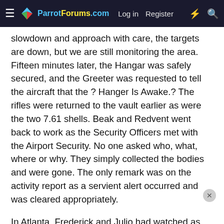ParrotForums.com  Log in  Register
slowdown and approach with care, the targets are down, but we are still monitoring the area. Fifteen minutes later, the Hangar was safely secured, and the Greeter was requested to tell the aircraft that the ? Hanger Is Awake.? The rifles were returned to the vault earlier as were the two 7.61 shells. Beak and Redvent went back to work as the Security Officers met with the Airport Security. No one asked who, what, where or why. They simply collected the bodies and were gone. The only remark was on the activity report as a servient alert occurred and was cleared appropriately.
In Atlanta, Frederick and Julio had watched as the events at their Hanger in Amsterdam unfolded. Both were deeply concerned that the Auto Search feature had not been in place. They searched the software and found that at the Amsterdam installation, that feature